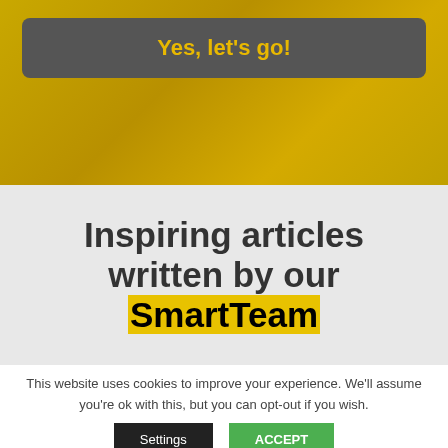[Figure (other): Yellow/golden textured background section at top of page]
Yes, let's go!
Inspiring articles written by our SmartTeam
This website uses cookies to improve your experience. We'll assume you're ok with this, but you can opt-out if you wish.
Settings
ACCEPT